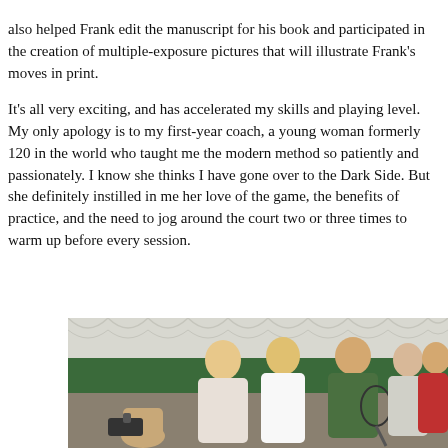also helped Frank edit the manuscript for his book and participated in the creation of multiple-exposure pictures that will illustrate Frank's moves in print.
It's all very exciting, and has accelerated my skills and playing level. My only apology is to my first-year coach, a young woman formerly 120 in the world who taught me the modern method so patiently and passionately. I know she thinks I have gone over to the Dark Side. But she definitely instilled in me her love of the game, the benefits of practice, and the need to jog around the court two or three times to warm up before every session.
[Figure (photo): Group photo of six people on an indoor tennis court. A man crouches in the front left holding a video camera with a microphone. Behind him stand two blonde women, a man in a green shirt holding a tennis racket, and two older men on the right side. The background shows green and white draped curtains of an indoor tennis facility.]